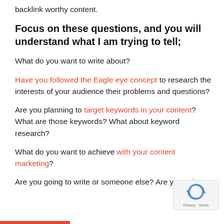backlink worthy content.
Focus on these questions, and you will understand what I am trying to tell;
What do you want to write about?
Have you followed the Eagle eye concept to research the interests of your audience their problems and questions?
Are you planning to target keywords in your content? What are those keywords? What about keyword research?
What do you want to achieve with your content marketing?
Are you going to write or someone else? Are you using